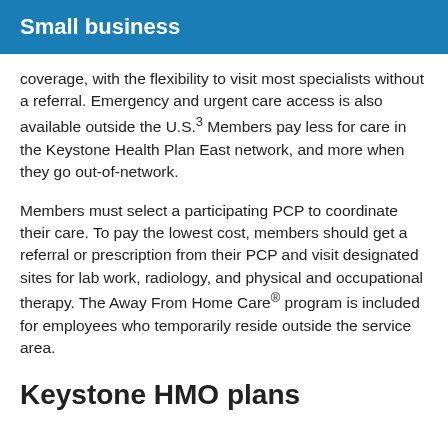Small business
coverage, with the flexibility to visit most specialists without a referral. Emergency and urgent care access is also available outside the U.S.³ Members pay less for care in the Keystone Health Plan East network, and more when they go out-of-network.
Members must select a participating PCP to coordinate their care. To pay the lowest cost, members should get a referral or prescription from their PCP and visit designated sites for lab work, radiology, and physical and occupational therapy. The Away From Home Care® program is included for employees who temporarily reside outside the service area.
Keystone HMO plans